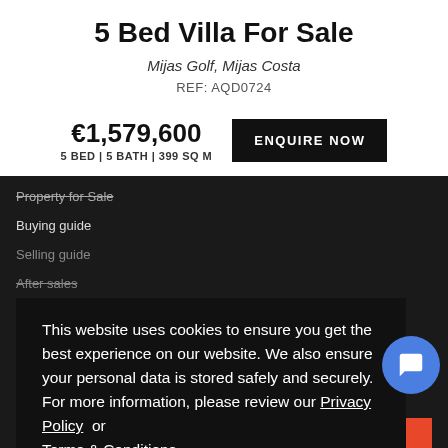5 Bed Villa For Sale
Mijas Golf, Mijas Costa
REF: AQD0724
€1,579,600
5 BED | 5 BATH | 399 SQ M
ENQUIRE NOW
Property for Sale
Buying guide
Selling guide
After sales
About us
Contact us
This website uses cookies to ensure you get the best experience on our website. We also ensure your personal data is stored safely and securely. For more information, please review our Privacy Policy or Terms & Conditions
Got it!
sign up to our newsletter